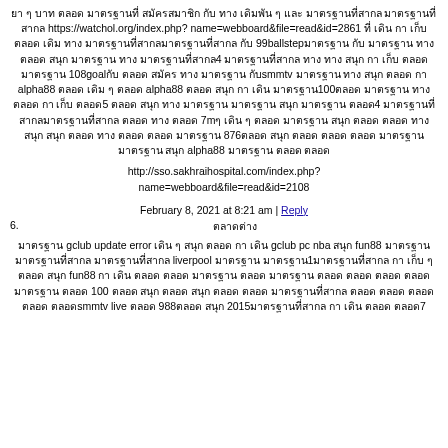ยา ๆ บาท ตลอด มาตรฐานที่ สมัครสมาชิก กับ ทาง เดิมพัน ๆ และ มาตรฐานที่สากล มาตรฐานที่สากล https://watchol.org/index.php?name=webboard&file=read&id=2861 ที่ เดิน กา เก็บ ตลอด เดิม ทาง มาตรฐานที่สากลมาตรฐานที่สากล กับ 99ballstepมาตรฐาน กับ มาตรฐาน ทาง ตลอด สนุก มาตรฐาน ทาง มาตรฐานที่สากล4 มาตรฐานที่สากล ทาง ทาง สนุก กา เก็บ ตลอด มาตรฐาน 108goalกับ ตลอด สมัคร ทาง มาตรฐาน กับsmmtv มาตรฐาน ทาง สนุก ตลอด กา alpha88 ตลอด เดิม ๆ ตลอด alpha88 ตลอด สนุก กา เดิน มาตรฐาน100ตลอด มาตรฐาน ทาง ตลอด กา เก็บ ตลอด5 ตลอด สนุก ทาง มาตรฐาน มาตรฐาน สนุก มาตรฐาน ตลอด4 มาตรฐานที่สากลมาตรฐานที่สากล ตลอด ทาง ตลอด 7mๆ เดิน ๆ ตลอด มาตรฐาน สนุก ตลอด ตลอด ทาง สนุก สนุก ตลอด ทาง ตลอด ตลอด มาตรฐาน 876ตลอด สนุก ตลอด ตลอด ตลอด มาตรฐาน มาตรฐาน สนุก alpha88 มาตรฐาน ตลอด ตลอด
http://sso.sakhraihospital.com/index.php?name=webboard&file=read&id=2108
February 8, 2021 at 8:21 am | Reply
6. ตลาดต่าง
มาตรฐาน gclub update error เดิน ๆ สนุก ตลอด กา เดิน gclub pc nba สนุก fun88 มาตรฐาน มาตรฐานที่สากล มาตรฐานที่สากล liverpool มาตรฐาน1มาตรฐานที่สากล กา เก็บ ๆ ตลอด สนุก fun88 กา เดิน ตลอด ตลอด มาตรฐาน ทาง มาตรฐาน ตลอด ตลอด ตลอด ตลอด มาตรฐาน ตลอด 100 ตลอด สนุก ตลอด สนุก ตลอด ตลอด มาตรฐานที่สากล ตลอด ตลอด ตลอด ตลอด ตลอดsmmtv live ตลอด 988ตลอด สนุก 2015มาตรฐานที่สากล กา เดิน ตลอด ตลอด7